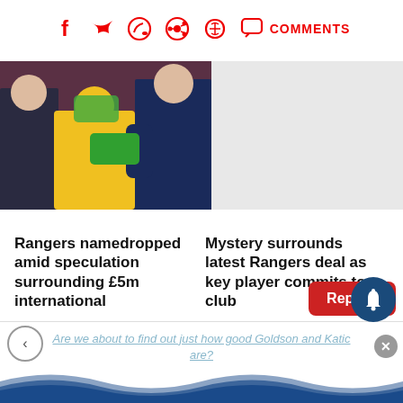[Figure (screenshot): Social sharing bar with Facebook, Twitter, WhatsApp, Reddit, Pinterest icons and a COMMENTS button, all in red]
[Figure (photo): Football/soccer player in yellow jersey with head bowed, flanked by people in dark coats, stadium background]
[Figure (other): Light grey placeholder image on the right side]
Rangers namedropped amid speculation surrounding £5m international
Mystery surrounds latest Rangers deal as key player commits to club
Replies
Are we about to find out just how good Goldson and Katic are?